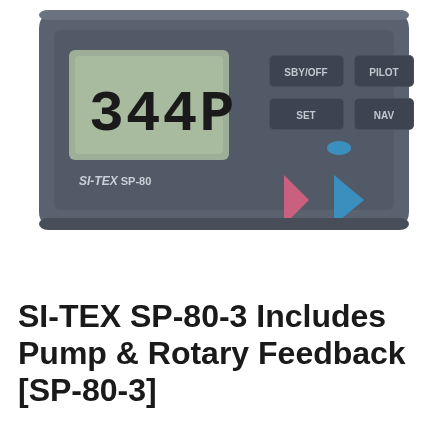[Figure (photo): Photo of the SI-TEX SP-80 autopilot control head unit showing a grey rectangular device with a large LCD display showing '344P', four buttons (SBY/OFF, PILOT, SET, NAV), a blue indicator LED, a pink/red left arrow button, and a blue right arrow button. The brand name 'SI-TEX SP-80' is printed on the unit.]
SI-TEX SP-80-3 Includes Pump & Rotary Feedback [SP-80-3]